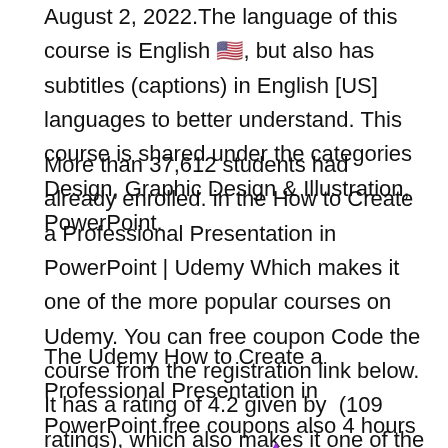August 2, 2022.The language of this course is English 🇺🇸, but also has subtitles (captions) in English [US] languages to better understand. This course is shared under the categories Design, Graphic Design & Illustration, PowerPoint.
More than 37,612 students had already enrolled. in the How to Create a Professional Presentation in PowerPoint | Udemy Which makes it one of the more popular courses on Udemy. You can free coupon Code the course from the registration link below. It has a rating of 4.2 given by  (109 ratings), which also makes it one of the highest-rated courses at Udemy.
The Udemy How to Create a Professional Presentation in PowerPoint free coupons also 4 hours on-demand video, 3 a… 0 downloadable, resources, full lifetime, access on mobile and television, assignments, completion certificate and